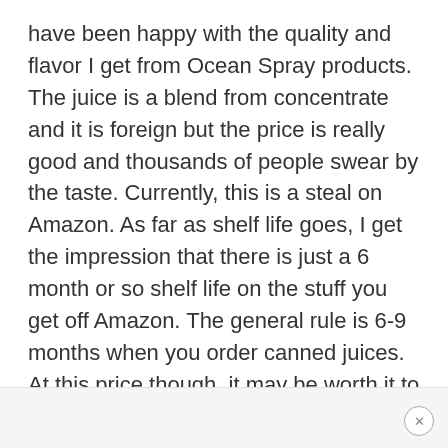have been happy with the quality and flavor I get from Ocean Spray products. The juice is a blend from concentrate and it is foreign but the price is really good and thousands of people swear by the taste. Currently, this is a steal on Amazon. As far as shelf life goes, I get the impression that there is just a 6 month or so shelf life on the stuff you get off Amazon. The general rule is 6-9 months when you order canned juices. At this price though, it may be worth it to have a few cases of this for your short to mid-length food stash.